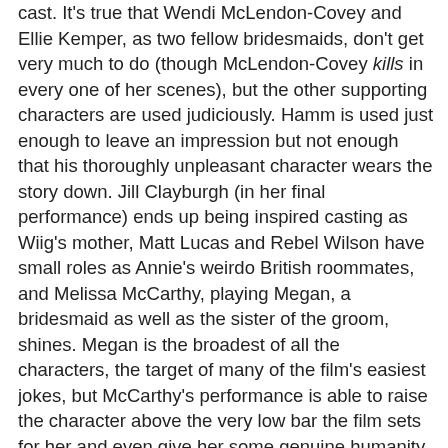cast. It's true that Wendi McLendon-Covey and Ellie Kemper, as two fellow bridesmaids, don't get very much to do (though McLendon-Covey kills in every one of her scenes), but the other supporting characters are used judiciously. Hamm is used just enough to leave an impression but not enough that his thoroughly unpleasant character wears the story down. Jill Clayburgh (in her final performance) ends up being inspired casting as Wiig's mother, Matt Lucas and Rebel Wilson have small roles as Annie's weirdo British roommates, and Melissa McCarthy, playing Megan, a bridesmaid as well as the sister of the groom, shines. Megan is the broadest of all the characters, the target of many of the film's easiest jokes, but McCarthy's performance is able to raise the character above the very low bar the film sets for her and even give her some genuine humanity.
The anchor of the film is of course Wiig, who alternates easily between Annie's frequent descents into wackiness and the more realistic and emotionally weighty moments in the film. Bridesmaids really doesn't have much in the way of depth but it does make the effort to flesh Annie out as a character, to make her struggles at least somewhat relatable so that she's not able to be above the rest right...